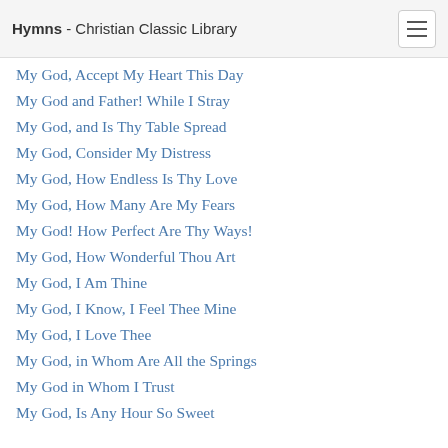Hymns - Christian Classic Library
My God, Accept My Heart This Day
My God and Father! While I Stray
My God, and Is Thy Table Spread
My God, Consider My Distress
My God, How Endless Is Thy Love
My God, How Many Are My Fears
My God! How Perfect Are Thy Ways!
My God, How Wonderful Thou Art
My God, I Am Thine
My God, I Know, I Feel Thee Mine
My God, I Love Thee
My God, in Whom Are All the Springs
My God in Whom I Trust
My God, Is Any Hour So Sweet